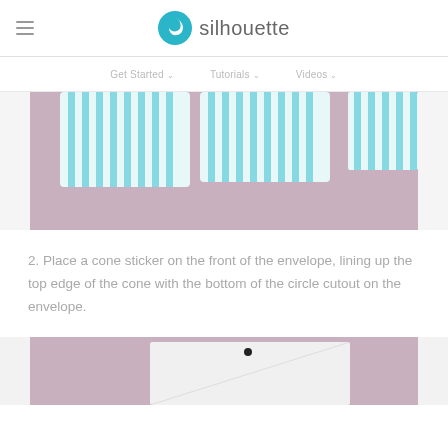silhouette
[Figure (photo): Pink background with teal and white striped paper folded into envelope tabs or flaps, viewed from above]
2. Place a cone sticker on the front of the envelope, lining up the top edge of the cone with the bottom of the circle cutout on the envelope.
[Figure (photo): Pink background with a white paper/envelope piece partially visible, showing a small dark dot or sticker at the top]